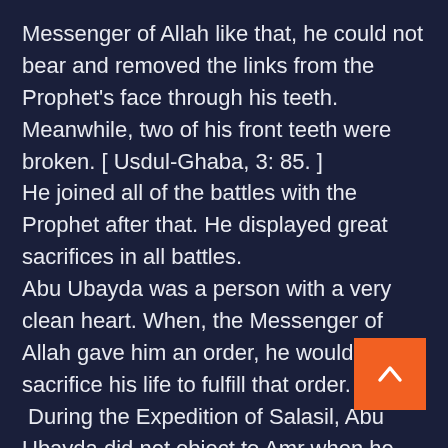Messenger of Allah like that, he could not bear and removed the links from the Prophet's face through his teeth. Meanwhile, two of his front teeth were broken. [ Usdul-Ghaba, 3: 85. ] He joined all of the battles with the Prophet after that. He displayed great sacrifices in all battles. Abu Ubayda was a person with a very clean heart. When, the Messenger of Allah gave him an order, he would sacrifice his life to fulfill that order.  During the Expedition of Salasil, Abu Ubayda did not object to Amr when he asked him to join him with his men and be under his command. He reminded him the following statement of the Messenger of Allah: "Do not conflict with